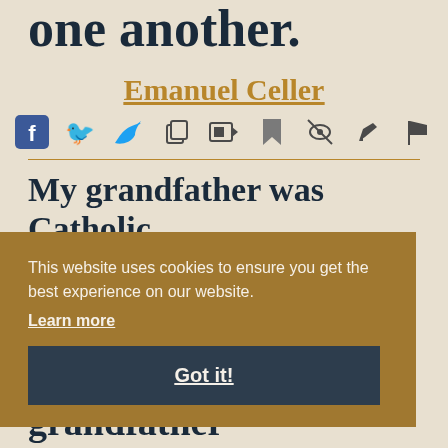one another.
Emanuel Celler
[Figure (infographic): Row of social media and action icons: Facebook, Twitter, copy, video, bookmark, hide, edit/pen, flag]
My grandfather was Catholic
This website uses cookies to ensure you get the best experience on our website. Learn more Got it!
overboard. My grandfather